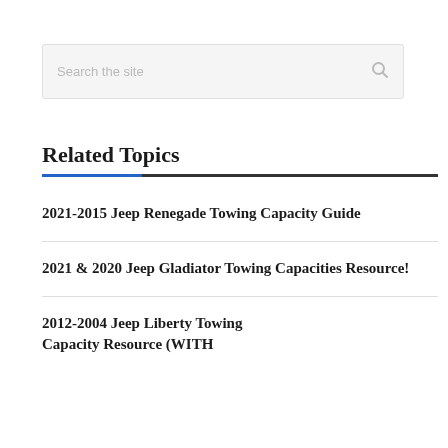[Figure (screenshot): Search bar with placeholder text 'Search the site' and a magnifying glass icon on a light gray background]
Related Topics
2021-2015 Jeep Renegade Towing Capacity Guide
2021 & 2020 Jeep Gladiator Towing Capacities Resource!
2012-2004 Jeep Liberty Towing Capacity Resource (WITH